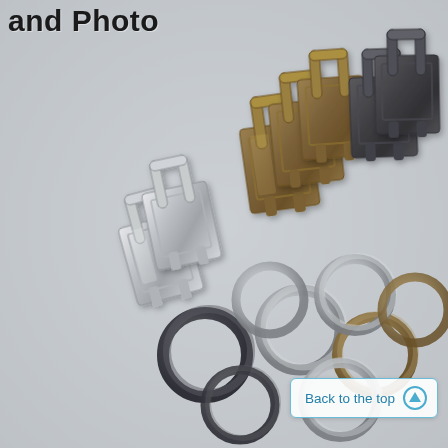and Photo
[Figure (photo): Product photo showing multiple key fob hardware clips in silver, antique bronze, and gunmetal/black finishes arranged in rows, with several metal split key rings in the foreground in matching finishes (silver, black, and bronze).]
Back to the top